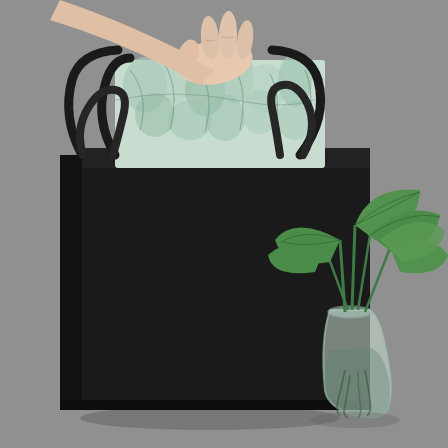[Figure (photo): A matte black paper gift bag with dark rope handles sits on a gray surface. A hand from the upper left is placing a wrapped gift (with a light blue/green floral pattern) into the top of the bag. To the right of the bag is a clear glass vase containing green tropical plants with roots visible in water.]